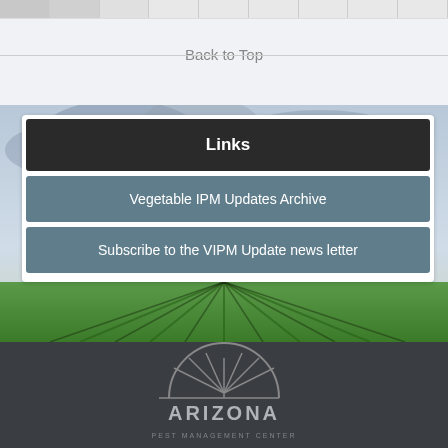Back to Top
Links
Vegetable IPM Updates Archive
Subscribe to the VIPM Update news letter
[Figure (logo): Arizona logo at bottom on dark background]